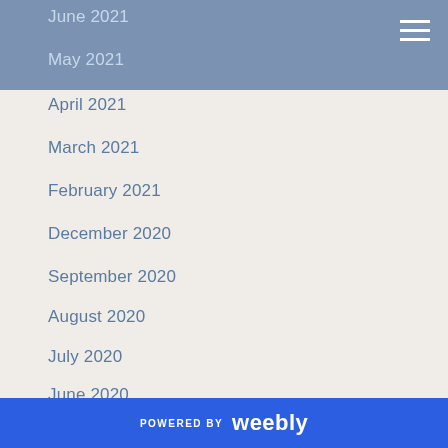June 2021
May 2021
April 2021
March 2021
February 2021
December 2020
September 2020
August 2020
July 2020
June 2020
May 2020
April 2020
March 2020
RSS Feed
POWERED BY weebly